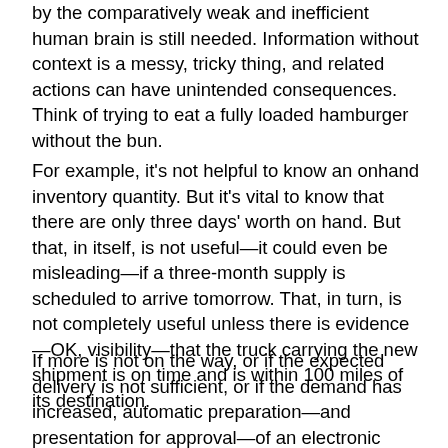by the comparatively weak and inefficient human brain is still needed. Information without context is a messy, tricky thing, and related actions can have unintended consequences. Think of trying to eat a fully loaded hamburger without the bun.
For example, it's not helpful to know an onhand inventory quantity. But it's vital to know that there are only three days' worth on hand. But that, in itself, is not useful—it could even be misleading—if a three-month supply is scheduled to arrive tomorrow. That, in turn, is not completely useful unless there is evidence—OK, visibility—that the truck carrying the new shipment is on time and is within 100 miles of its destination.
If more is not on the way, or if the expected delivery is not sufficient, or if the demand has increased, automatic preparation—and presentation for approval—of an electronic purchase order (for expedited delivery, if necessary) is the right way for a system to both provide